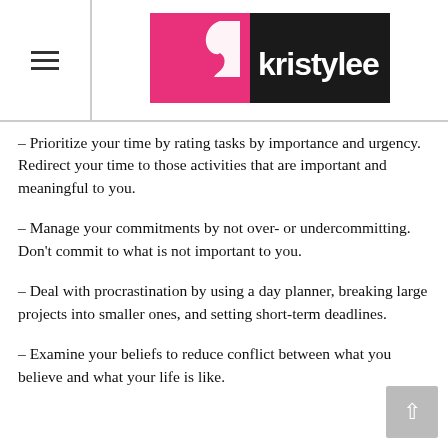[Figure (logo): Kristylee logo: pink silhouette of a woman's face on left, black background on right with white text 'kristylee']
– Prioritize your time by rating tasks by importance and urgency. Redirect your time to those activities that are important and meaningful to you.
– Manage your commitments by not over- or undercommitting. Don't commit to what is not important to you.
– Deal with procrastination by using a day planner, breaking large projects into smaller ones, and setting short-term deadlines.
– Examine your beliefs to reduce conflict between what you believe and what your life is like.